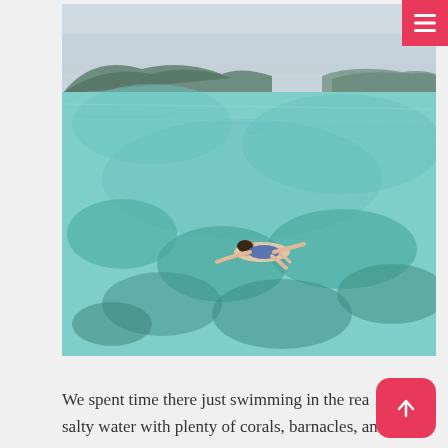[Figure (photo): Aerial view of a person floating/swimming in clear turquoise tropical ocean water with coral reef visible below. Mountains and coastline visible in the distant background under an overcast sky.]
We spent time there just swimming in the rea salty water with plenty of corals, barnacles, and